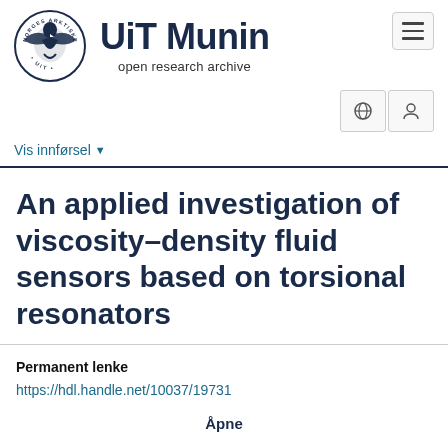[Figure (logo): UiT Norges Arktiske Universitet circular seal/logo with eagle and text, alongside UiT Munin open research archive wordmark]
An applied investigation of viscosity–density fluid sensors based on torsional resonators
Permanent lenke
https://hdl.handle.net/10037/19731
Åpne